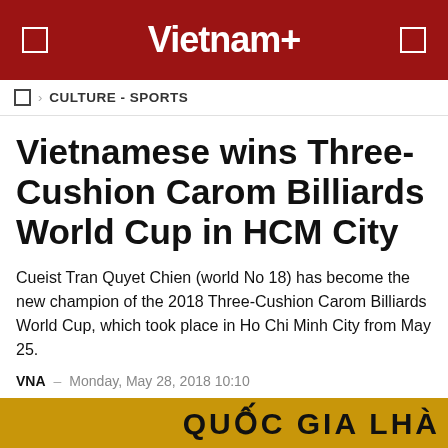Vietnam+
CULTURE - SPORTS
Vietnamese wins Three-Cushion Carom Billiards World Cup in HCM City
Cueist Tran Quyet Chien (world No 18) has become the new champion of the 2018 Three-Cushion Carom Billiards World Cup, which took place in Ho Chi Minh City from May 25.
VNA  -  Monday, May 28, 2018 10:10
[Figure (other): Social share buttons: Facebook, Zing, Twitter, Google+, and a share icon]
[Figure (other): Partial bottom banner showing partial text in gold/yellow background]